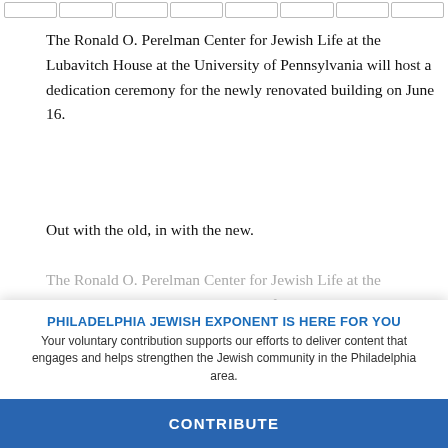[navigation bar]
The Ronald O. Perelman Center for Jewish Life at the Lubavitch House at the University of Pennsylvania will host a dedication ceremony for the newly renovated building on June 16.
Out with the old, in with the new.
The Ronald O. Perelman Center for Jewish Life at the Lubavitch House at the University of Pennsylvania will host a dedication ceremony for the newly renovated building on June 16.
PHILADELPHIA JEWISH EXPONENT IS HERE FOR YOU
Your voluntary contribution supports our efforts to deliver content that engages and helps strengthen the Jewish community in the Philadelphia area.
CONTRIBUTE
Ambassador Jon Huntsman Jr., also a Penn trustee, will deliver the keynote address, along with event co-chair Magerman, Ilan Kaufthal and Eric Gribetz.